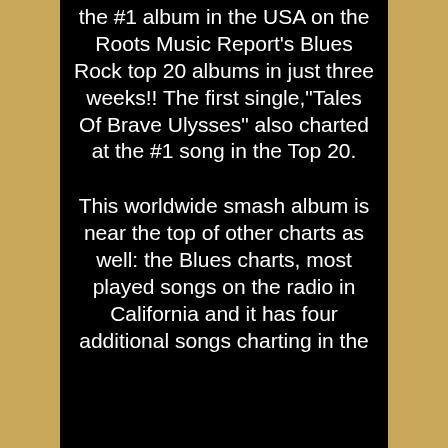the #1 album in the USA on the Roots Music Report's Blues Rock top 20 albums in just three weeks!! The first single,"Tales Of Brave Ulysses" also charted at the #1 song in the Top 20.
This worldwide smash album is near the top of other charts as well: the Blues charts, most played songs on the radio in California and it has four additional songs charting in the